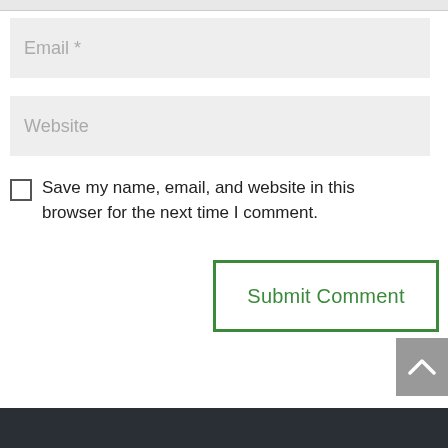Email *
Website
Save my name, email, and website in this browser for the next time I comment.
Submit Comment
[Figure (other): Scroll-to-top button (chevron up arrow on grey background)]